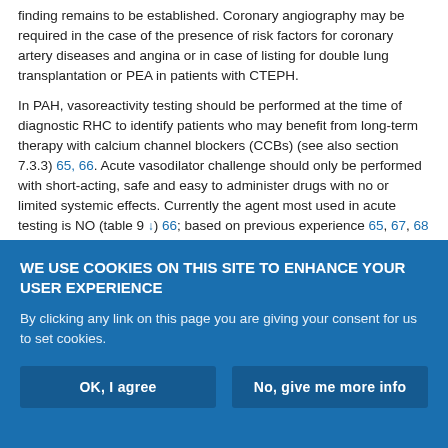finding remains to be established. Coronary angiography may be required in the case of the presence of risk factors for coronary artery diseases and angina or in case of listing for double lung transplantation or PEA in patients with CTEPH.
In PAH, vasoreactivity testing should be performed at the time of diagnostic RHC to identify patients who may benefit from long-term therapy with calcium channel blockers (CCBs) (see also section 7.3.3) 65, 66. Acute vasodilator challenge should only be performed with short-acting, safe and easy to administer drugs with no or limited systemic effects. Currently the agent most used in acute testing is NO (table 9 ↓) 66; based on previous experience 65, 67, 68
WE USE COOKIES ON THIS SITE TO ENHANCE YOUR USER EXPERIENCE
By clicking any link on this page you are giving your consent for us to set cookies.